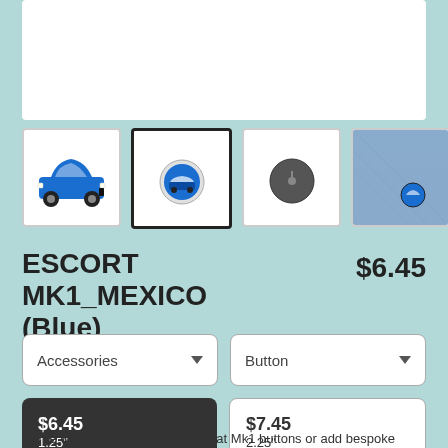[Figure (screenshot): Main product image area showing white background with product photo]
[Figure (photo): Four product thumbnail images: blue Ford Escort MK1 Mexico illustration, blue button pin front, button pin back, button pin worn on denim jacket]
ESCORT MK1_MEXICO (Blue)
$6.45
Accessories
Button
$6.45
1.25"
$7.45
2.25"
Come with our standard HW pins at Mk1 buttons or add bespoke